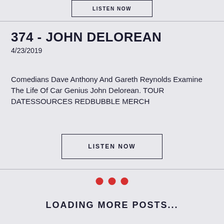LISTEN NOW
374 - JOHN DELOREAN
4/23/2019
Comedians Dave Anthony And Gareth Reynolds Examine The Life Of Car Genius John Delorean. TOUR DATESSOURCES REDBUBBLE MERCH
LISTEN NOW
[Figure (other): Three red filled circles arranged horizontally, serving as a loading indicator]
LOADING MORE POSTS...